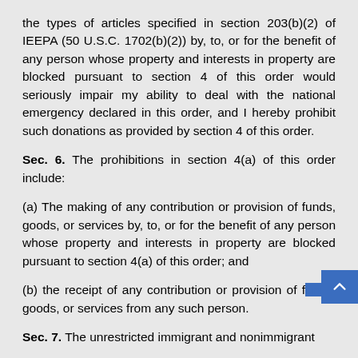the types of articles specified in section 203(b)(2) of IEEPA (50 U.S.C. 1702(b)(2)) by, to, or for the benefit of any person whose property and interests in property are blocked pursuant to section 4 of this order would seriously impair my ability to deal with the national emergency declared in this order, and I hereby prohibit such donations as provided by section 4 of this order.
Sec. 6. The prohibitions in section 4(a) of this order include:
(a) The making of any contribution or provision of funds, goods, or services by, to, or for the benefit of any person whose property and interests in property are blocked pursuant to section 4(a) of this order; and
(b) the receipt of any contribution or provision of funds, goods, or services from any such person.
Sec. 7. The unrestricted immigrant and nonimmigrant